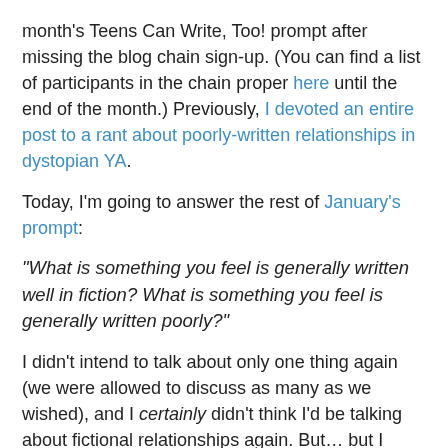month's Teens Can Write, Too! prompt after missing the blog chain sign-up. (You can find a list of participants in the chain proper here until the end of the month.) Previously, I devoted an entire post to a rant about poorly-written relationships in dystopian YA.
Today, I'm going to answer the rest of January's prompt:
“What is something you feel is generally written well in fiction? What is something you feel is generally written poorly?”
I didn't intend to talk about only one thing again (we were allowed to discuss as many as we wished), and I certainly didn't think I'd be talking about fictional relationships again. But… but I really want to, and I can't think of anything else I'd rather talk about at the moment.